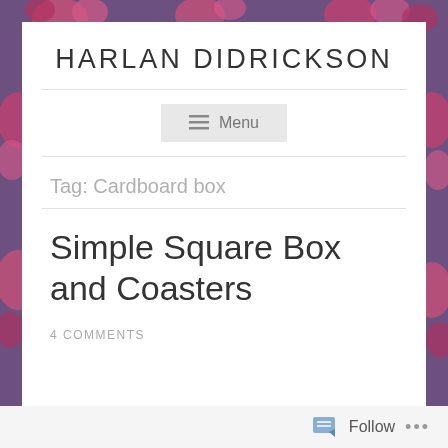HARLAN DIDRICKSON
≡ Menu
Tag: Cardboard box
Simple Square Box and Coasters
4 COMMENTS
Follow ...